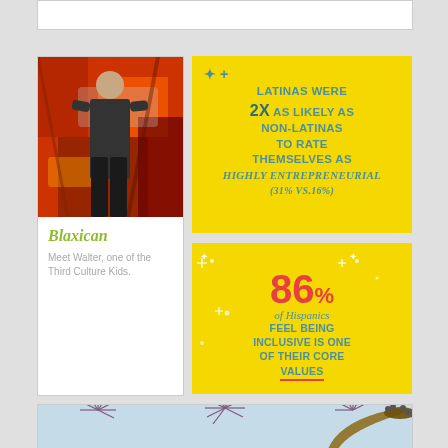[Figure (photo): Top white banner area, partially visible]
[Figure (photo): Photo of a man standing in front of a colorful graffiti wall]
Blaxican
Meet Walter, one of the Third Culture Kids.
[Figure (infographic): Yellow infographic: LATINAS WERE 2X AS LIKELY AS NON-LATINAS TO RATE THEMSELVES AS highly entrepreneurial (31% vs.16%)]
[Figure (infographic): Yellow infographic: 86% of Hispanics FEEL BEING INCLUSIVE IS ONE OF THEIR CORE VALUES]
[Figure (photo): Partial photo at bottom showing decorative starbursts and a guitar neck against light blue background]